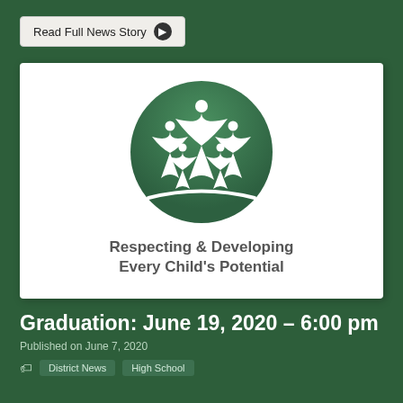Read Full News Story ▶
[Figure (logo): School district logo: green circle with stylized white figures of adults and children with arms raised, above text 'Respecting & Developing Every Child's Potential']
Graduation: June 19, 2020 – 6:00 pm
Published on June 7, 2020
District News   High School